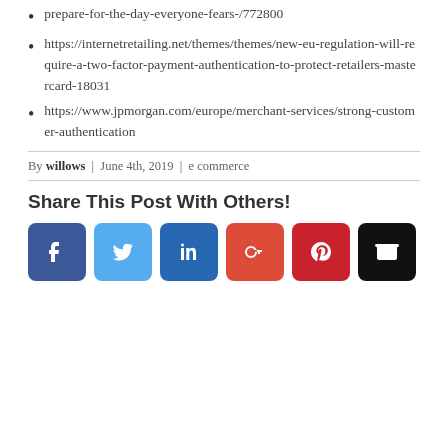prepare-for-the-day-everyone-fears-/772800
https://internetretailing.net/themes/themes/new-eu-regulation-will-require-a-two-factor-payment-authentication-to-protect-retailers-mastercard-18031
https://www.jpmorgan.com/europe/merchant-services/strong-customer-authentication
By willows | June 4th, 2019 | e commerce
Share This Post With Others!